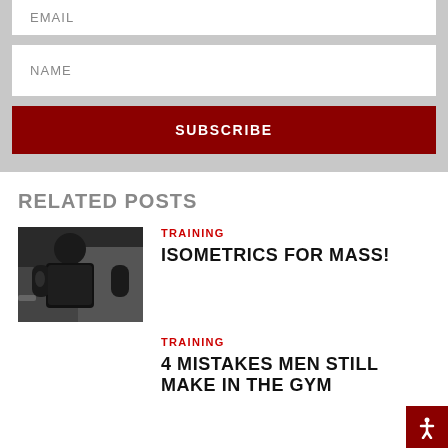EMAIL
NAME
SUBSCRIBE
RELATED POSTS
[Figure (photo): A muscular man in a black tank top working out in a gym]
TRAINING
ISOMETRICS FOR MASS!
TRAINING
4 MISTAKES MEN STILL MAKE IN THE GYM